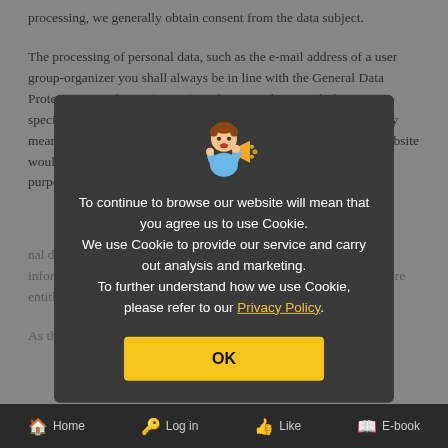processing, we generally obtain consent from the data subject.
The processing of personal data, such as the e-mail address of a user group-organizer you shall always be in line with the General Data Protection Regulation (GDPR), and in accordance with the country-specific data protection regulations applicable to Fastener World. By means of this data protection declaration, the maintainers of this website would like to inform the general public of the nature, scope, and purpose of the personal data we collect, use and process. Furthermore, data subjects are informed, by means of this declaration, of the rights to which they are entitled.
As the cont...
[Figure (screenshot): Cookie consent modal overlay with mascot illustration (person with megaphone), text about cookie usage and privacy policy link, and OK button]
Home  Log in  Like  E-book